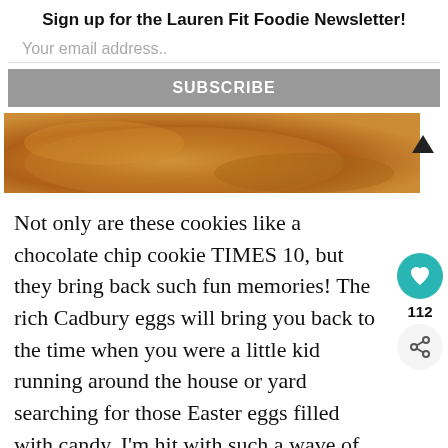Sign up for the Lauren Fit Foodie Newsletter!
Your email address..
SUBSCRIBE
[Figure (photo): Close-up photo of a golden-brown cookie or baked item]
Not only are these cookies like a chocolate chip cookie TIMES 10, but they bring back such fun memories! The rich Cadbury eggs will bring you back to the time when you were a little kid running around the house or yard searching for those Easter eggs filled with candy. I'm hit with such a wave of nostalg when I eat these! They are also a great rec make with the kids because they'll get so add such a fun, extra special treat and use a cookie